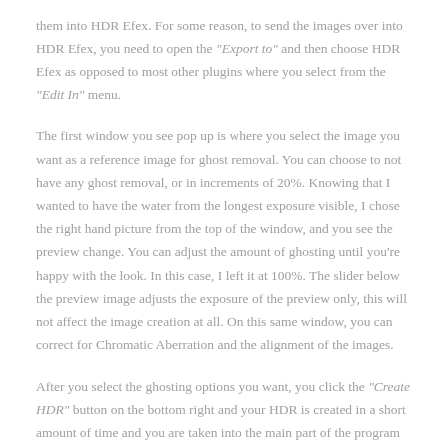them into HDR Efex. For some reason, to send the images over into HDR Efex, you need to open the "Export to" and then choose HDR Efex as opposed to most other plugins where you select from the "Edit In" menu.
The first window you see pop up is where you select the image you want as a reference image for ghost removal. You can choose to not have any ghost removal, or in increments of 20%. Knowing that I wanted to have the water from the longest exposure visible, I chose the right hand picture from the top of the window, and you see the preview change. You can adjust the amount of ghosting until you're happy with the look. In this case, I left it at 100%. The slider below the preview image adjusts the exposure of the preview only, this will not affect the image creation at all. On this same window, you can correct for Chromatic Aberration and the alignment of the images.
After you select the ghosting options you want, you click the "Create HDR" button on the bottom right and your HDR is created in a short amount of time and you are taken into the main part of the program to do some stylizing and other options. On the left pane you can select from a good variety of presets in a few different categories and you'll see a small thumbnail preview of the